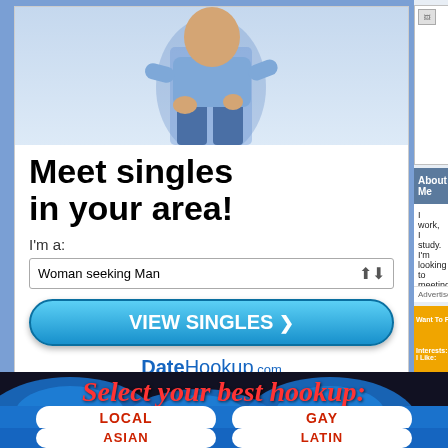[Figure (screenshot): DateHookup.com advertisement: person in jeans, 'Meet singles in your area!' headline, dropdown 'Woman seeking Man', 'VIEW SINGLES' button]
[Figure (screenshot): Two broken image placeholder thumbnails side by side on light blue background]
About Me
I work, I study. I'm looking to meeting ne... Kik: Alligator83
Advertisement
| Label | Value |
| --- | --- |
| Want To Find: | A woman ages 21 to 49 to da... |
| Interests: I Like: | art, computers, documentarie... restaurants, science, techno... |
My Featured Friends
[Figure (screenshot): Bottom banner: 'Select your best hookup:' in red italic text on dark background with blue wave graphic, LOCAL / GAY / ASIAN / LATIN buttons]